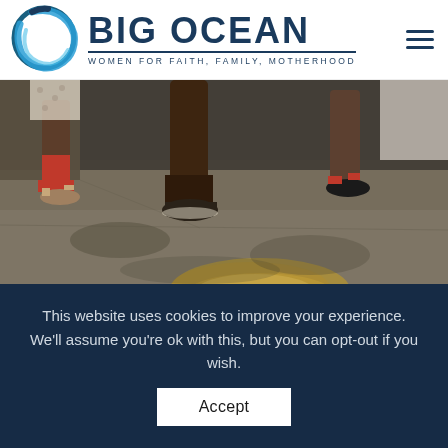BIG OCEAN — WOMEN FOR FAITH, FAMILY, MOTHERHOOD
[Figure (photo): Close-up photo showing the lower legs and feet of several people seated, standing on a rough concrete or dirt floor. One person wears red socks and sandals, another wears dark shoes, and another wears sandals with red detail. A blurred golden object appears in the foreground.]
This website uses cookies to improve your experience. We'll assume you're ok with this, but you can opt-out if you wish.
Accept